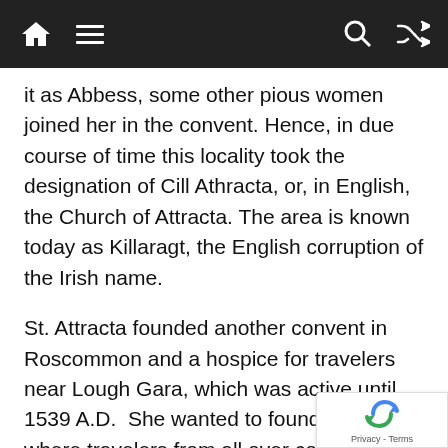Navigation bar with home, menu, search, and shuffle icons
it as Abbess, some other pious women joined her in the convent. Hence, in due course of time this locality took the designation of Cill Athracta, or, in English, the Church of Attracta. The area is known today as Killaragt, the English corruption of the Irish name.
St. Attracta founded another convent in Roscommon and a hospice for travelers near Lough Gara, which was active until 1539 A.D.  She wanted to found a place where travelers from all over could find warm hospitality. In those days there were no paved roads and travelling was difficult. As Attracta was known for her healing ability, this place also became a hospital.
There are many stories and legends about Attracta